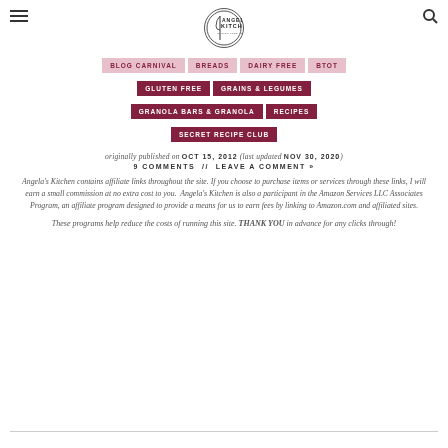Angela's Kitchen
BLOG CARNIVAL
BREADS
DAIRY FREE
BTOT
GLUTEN FREE
GRAINS & LEGUMES
GRANOLA BARS & GRANOLA
RECIPES
SECRET RECIPE CLUB
originally published on OCT 15, 2012 (last updated NOV 30, 2020)
9 COMMENTS // LEAVE A COMMENT »
Angela's Kitchen contains affiliate links throughout the site. If you choose to purchase items or services through these links, I will earn a small commission at no extra cost to you. Angela's Kitchen is also a participant in the Amazon Services LLC Associates Program, an affiliate program designed to provide a means for us to earn fees by linking to Amazon.com and affiliated sites.
These programs help reduce the costs of running this site. THANK YOU in advance for any clicks through!